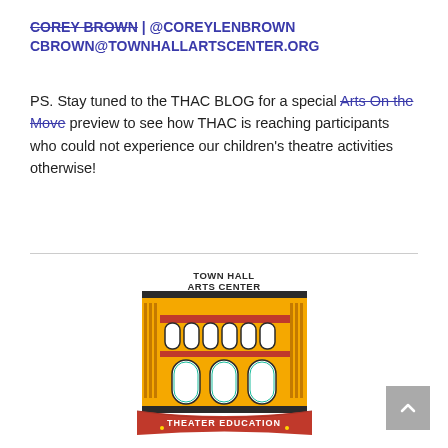COREY BROWN | @COREYLENBROWN CBROWN@TOWNHALLARTSCENTER.ORG
PS. Stay tuned to the THAC BLOG for a special Arts On the Move preview to see how THAC is reaching participants who could not experience our children's theatre activities otherwise!
[Figure (logo): Town Hall Arts Center logo — stylized building facade in yellow/orange with red banner reading THEATER EDUCATION and text TOWN HALL ARTS CENTER at top]